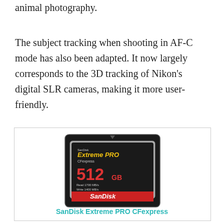animal photography.
The subject tracking when shooting in AF-C mode has also been adapted. It now largely corresponds to the 3D tracking of Nikon's digital SLR cameras, making it more user-friendly.
[Figure (photo): SanDisk Extreme PRO CFexpress 512GB memory card, showing Read 1700 MB/s and Write 1400 MB/s]
SanDisk Extreme PRO CFexpress